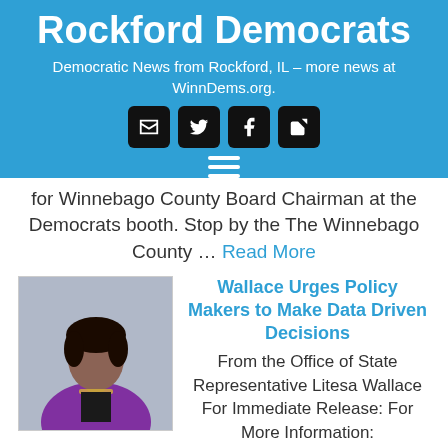Rockford Democrats
Democratic News from Rockford, IL – more news at WinnDems.org.
[Figure (other): Social media icons: email, Twitter, Facebook, external link]
for Winnebago County Board Chairman at the Democrats booth. Stop by the The Winnebago County … Read More
[Figure (photo): Portrait photo of State Representative Litesa Wallace wearing a purple blazer]
Wallace Urges Policy Makers to Make Data Driven Decisions
From the Office of State Representative Litesa Wallace For Immediate Release: For More Information: … Read More